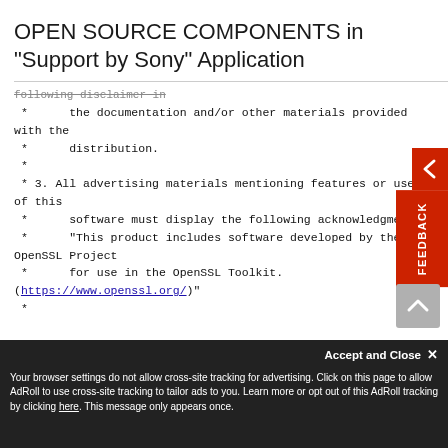OPEN SOURCE COMPONENTS in "Support by Sony" Application
* 	 the documentation and/or other materials provided with the
 * 	 distribution.
 *
 * 3. All advertising materials mentioning features or use of this
 * 	 software must display the following acknowledgment:
 * 	 "This product includes software developed by the OpenSSL Project
 * 	 for use in the OpenSSL Toolkit. (https://www.openssl.org/)"
 *
Your browser settings do not allow cross-site tracking for advertising. Click on this page to allow AdRoll to use cross-site tracking to tailor ads to you. Learn more or opt out of this AdRoll tracking by clicking here. This message only appears once.